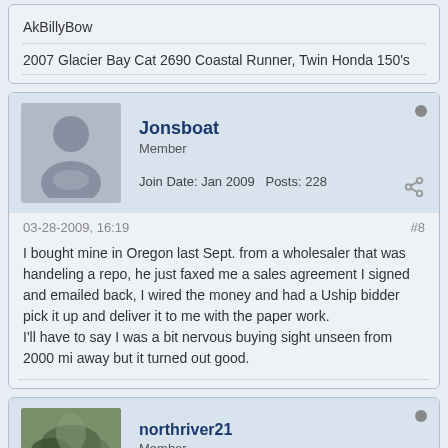AkBillyBow
2007 Glacier Bay Cat 2690 Coastal Runner, Twin Honda 150's
Jonsboat
Member
Join Date: Jan 2009  Posts: 228
03-28-2009, 16:19
#8
I bought mine in Oregon last Sept. from a wholesaler that was handeling a repo, he just faxed me a sales agreement I signed and emailed back, I wired the money and had a Uship bidder pick it up and deliver it to me with the paper work.
I'll have to say I was a bit nervous buying sight unseen from 2000 mi away but it turned out good.
northriver21
Member